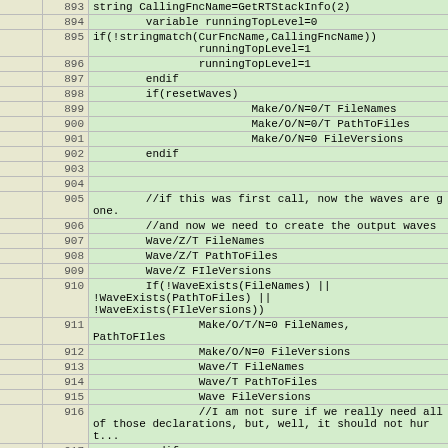|  | Line | Code |
| --- | --- | --- |
|  | 893 | string CallingFncName=GetRTStackInfo(2) |
|  | 894 |         variable runningTopLevel=0 |
|  | 895 | if(!stringmatch(CurFncName,CallingFncName))
                runningTopLevel=1 |
|  | 896 |                 runningTopLevel=1 |
|  | 897 |         endif |
|  | 898 |         if(resetWaves) |
|  | 899 |                         Make/O/N=0/T FileNames |
|  | 900 |                         Make/O/N=0/T PathToFiles |
|  | 901 |                         Make/O/N=0 FileVersions |
|  | 902 |         endif |
|  | 903 |  |
|  | 904 |  |
|  | 905 |         //if this was first call, now the waves are gone. |
|  | 906 |         //and now we need to create the output waves |
|  | 907 |         Wave/Z/T FileNames |
|  | 908 |         Wave/Z/T PathToFiles |
|  | 909 |         Wave/Z FIleVersions |
|  | 910 |         If(!WaveExists(FileNames) ||
!WaveExists(PathToFiles) ||
!WaveExists(FIleVersions)) |
|  | 911 |                 Make/O/T/N=0 FileNames,
PathToFIles |
|  | 912 |                 Make/O/N=0 FileVersions |
|  | 913 |                 Wave/T FileNames |
|  | 914 |                 Wave/T PathToFiles |
|  | 915 |                 Wave FileVersions |
|  | 916 |                 //I am not sure if we really need all of those declarations, but, well, it should not hurt... |
|  | 917 |         endif |